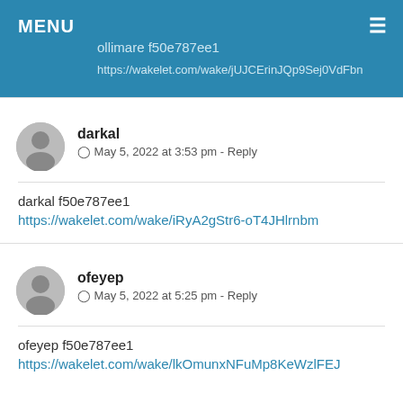MENU
ollimare f50e787ee1
https://wakelet.com/wake/jUJCErinJQp9Sej0VdFbn
darkal
May 5, 2022 at 3:53 pm - Reply
darkal f50e787ee1
https://wakelet.com/wake/iRyA2gStr6-oT4JHlrnbm
ofeyep
May 5, 2022 at 5:25 pm - Reply
ofeyep f50e787ee1
https://wakelet.com/wake/lkOmunxNFuMp8KeWzlFEJ